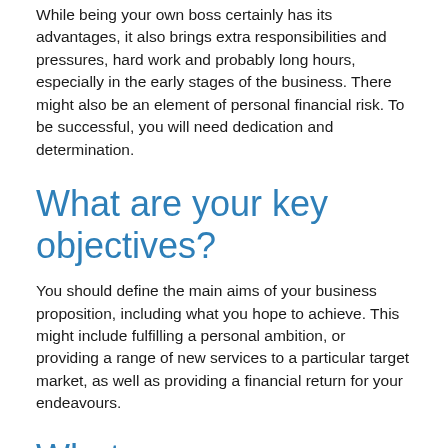While being your own boss certainly has its advantages, it also brings extra responsibilities and pressures, hard work and probably long hours, especially in the early stages of the business. There might also be an element of personal financial risk. To be successful, you will need dedication and determination.
What are your key objectives?
You should define the main aims of your business proposition, including what you hope to achieve. This might include fulfilling a personal ambition, or providing a range of new services to a particular target market, as well as providing a financial return for your endeavours.
What are your expectations?
It can take time for new businesses to become